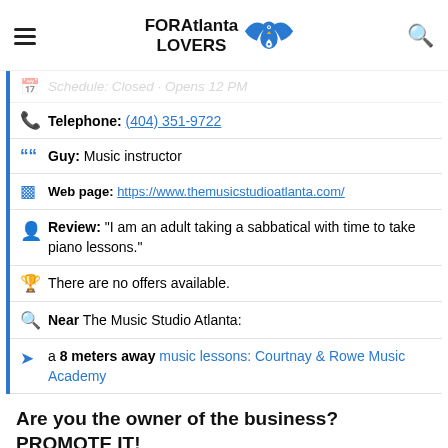FOR Atlanta LOVERS
Telephone: (404) 351-9722
Guy: Music instructor
Web page: https://www.themusicstudioatlanta.com/
Review: "I am an adult taking a sabbatical with time to take piano lessons."
There are no offers available.
Near The Music Studio Atlanta:
a 8 meters away music lessons: Courtnay & Rowe Music Academy
Are you the owner of the business? PROMOTE IT!